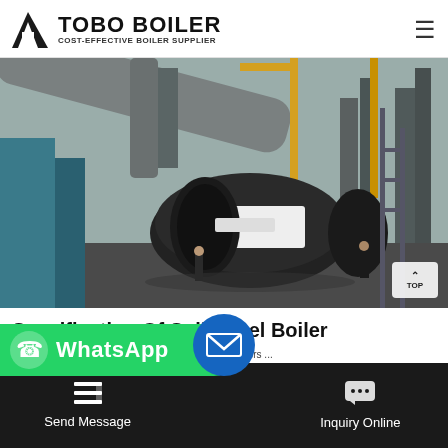TOBO BOILER — COST-EFFECTIVE BOILER SUPPLIER
[Figure (photo): Industrial boiler installation site showing a large horizontal cylindrical boiler being installed with cranes, pipes, scaffolding, and industrial equipment in an outdoor factory setting.]
Specification Of Solid Fuel Boiler
| Working, Fuel Types · Nov 16, 2021 ... solid fuel boilers ...
Send Message | Inquiry Online